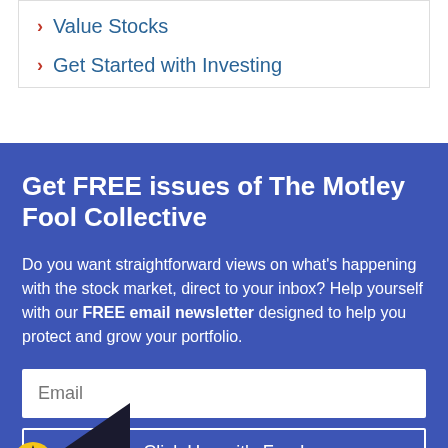Value Stocks
Get Started with Investing
Get FREE issues of The Motley Fool Collective
Do you want straightforward views on what’s happening with the stock market, direct to your inbox? Help yourself with our FREE email newsletter designed to help you protect and grow your portfolio.